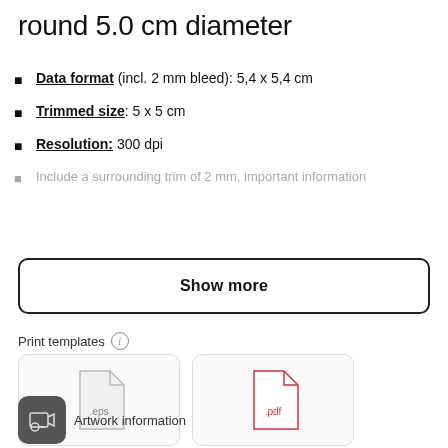round 5.0 cm diameter
Data format (incl. 2 mm bleed): 5,4 x 5,4 cm
Trimmed size: 5 x 5 cm
Resolution: 300 dpi
Include a surrounding trim of 2 mm, important information
Show more
Print templates
[Figure (illustration): EPS file template icon (grey document icon with .eps label)]
[Figure (illustration): PDF file template icon (red document icon with .pdf label)]
Artwork information